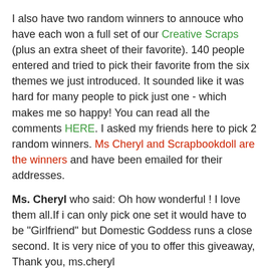I also have two random winners to annouce who have each won a full set of our Creative Scraps (plus an extra sheet of their favorite). 140 people entered and tried to pick their favorite from the six themes we just introduced. It sounded like it was hard for many people to pick just one - which makes me so happy! You can read all the comments HERE. I asked my friends here to pick 2 random winners. Ms Cheryl and Scrapbookdoll are the winners and have been emailed for their addresses.
Ms. Cheryl who said: Oh how wonderful ! I love them all.If i can only pick one set it would have to be "Girlfriend" but Domestic Goddess runs a close second. It is very nice of you to offer this giveaway, Thank you, ms.cheryl
Scrapbookdoll said: Love the Seasonal Calendar Creative Scraps and the Summer Creative Scraps they are so gorgeous.
We were to have them in stock today but our printer says we